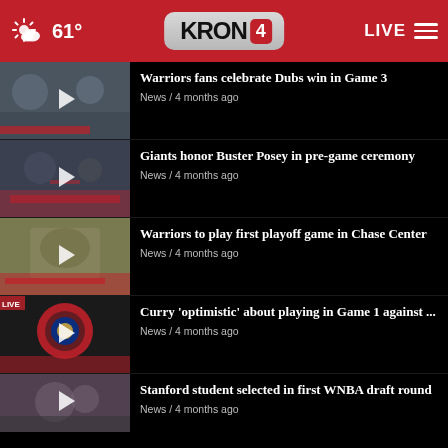61° KRON4 LIVE
Warriors fans celebrate Dubs win in Game 3
News / 4 months ago
Giants honor Buster Posey in pre-game ceremony
News / 4 months ago
Warriors to play first playoff game in Chase Center
News / 4 months ago
Curry 'optimistic' about playing in Game 1 against ...
News / 4 months ago
Stanford student selected in first WNBA draft round
News / 4 months ago